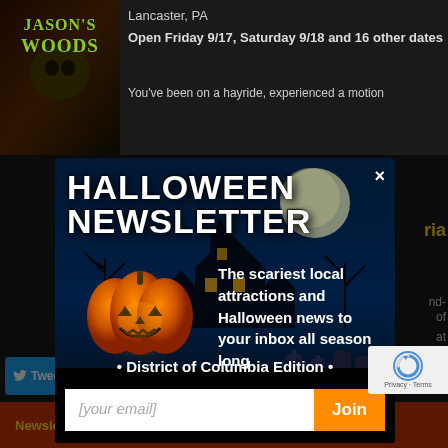[Figure (screenshot): Jason's Woods haunted attraction logo - green text on dark background with skull]
Lancaster, PA
Open Friday 9/17, Saturday 9/18 and 16 other dates
You've been on a hayride, experienced a motion
[Figure (infographic): Halloween Newsletter modal popup with spooky background featuring haunted house, moon, pumpkin, and gravestones. Title reads HALLOWEEN NEWSLETTER with X close button. Body text: The scariest local attractions and Halloween news to your inbox all season long. District of Columbia Edition. Email signup form with [your email] input field and orange Join button.]
• District of Columbia Edition •
[your email]
Join
[Figure (screenshot): Social sharing bar with Tweet (0), Reddit (0), Pin (0), Share buttons and New button]
Newsletter    About DCHauntedHouses.com